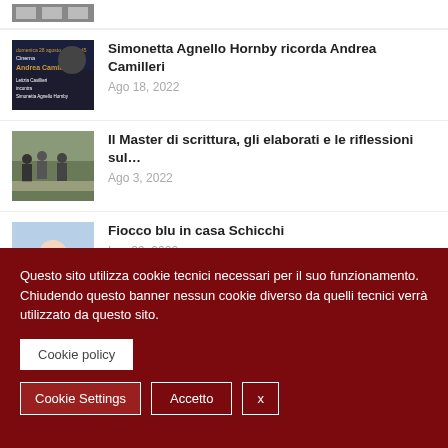[Figure (photo): Small thumbnail image strip at top, partially visible]
Simonetta Agnello Hornby ricorda Andrea Camilleri
Ago 18, 2022
Il Master di scrittura, gli elaborati e le riflessioni sul…
Ago 3, 2022
Fiocco blu in casa Schicchi
Lug 29, 2022
Questo sito utilizza cookie tecnici necessari per il suo funzionamento. Chiudendo questo banner nessun cookie diverso da quelli tecnici verrà utilizzato da questo sito.
Cookie policy
Cookie Settings  Accetto  x